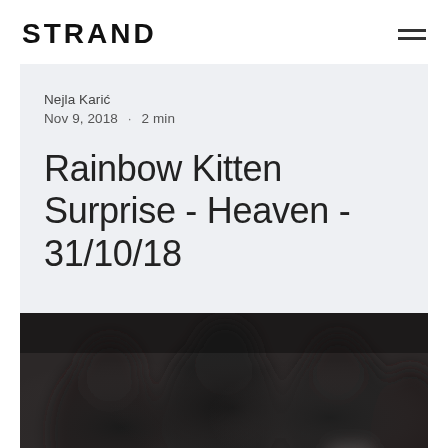STRAND
Nejla Karić
Nov 9, 2018 · 2 min
Rainbow Kitten Surprise - Heaven - 31/10/18
[Figure (photo): Blurred group photo of several people (the band Rainbow Kitten Surprise), dark background, partially visible figures]